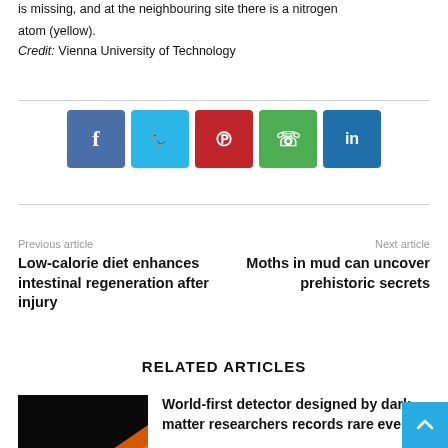is missing, and at the neighbouring site there is a nitrogen atom (yellow).
Credit: Vienna University of Technology
[Figure (infographic): Row of five social media share buttons: Facebook (dark blue), Twitter (light blue), Pinterest (red), WhatsApp (green), LinkedIn (dark blue)]
Previous article
Low-calorie diet enhances intestinal regeneration after injury
Next article
Moths in mud can uncover prehistoric secrets
RELATED ARTICLES
World-first detector designed by dark matter researchers records rare events